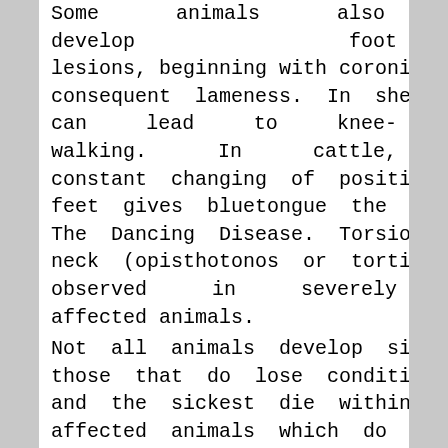Some animals also develop foot lesions, beginning with coronitis, with consequent lameness. In sheep, this can lead to knee-walking. In cattle, constant changing of position of the feet gives bluetongue the nickname The Dancing Disease. Torsion of the neck (opisthotonos or torticollis) is observed in severely affected animals.
Not all animals develop signs, but all those that do lose condition rapidly, and the sickest die within a week. For affected animals which do not die, recovery is very slow, lasting several months.
The incubation period is 5–20 days, and all signs usually develop within a month. The mortality rate is normally low, but it is high in susceptible breeds